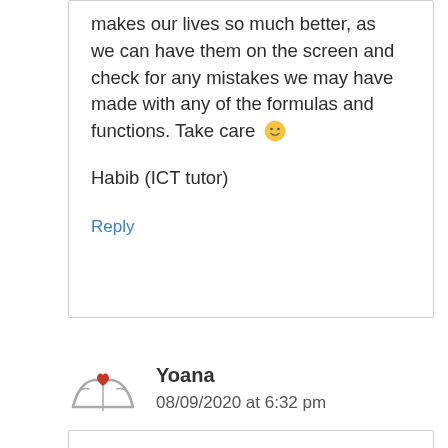makes our lives so much better, as we can have them on the screen and check for any mistakes we may have made with any of the formulas and functions. Take care 🙂
Habib (ICT tutor)
Reply
Yoana
08/09/2020 at 6:32 pm
Hi Habib,